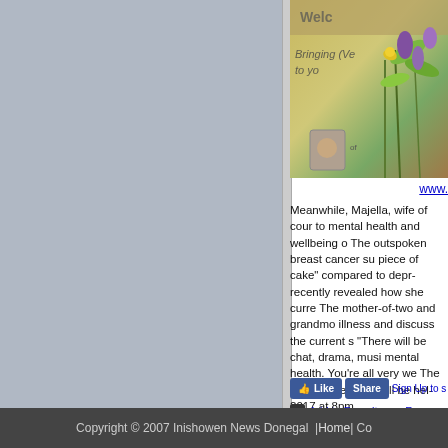[Figure (photo): Partial photo showing flowers/plants with purple and yellow blooms against a banner background with partial text visible]
www.
Meanwhile, Majella, wife of cour to mental health and wellbeing o The outspoken breast cancer su piece of cake" compared to depr recently revealed how she curre The mother-of-two and grandmo illness and discuss the current s "There will be chat, drama, musi mental health. You're all very we The event is free and will be hel 2017 at 8pm.
Like  Share  Sign Up to s
Add to Favorites  :: R
Copyright © 2007 Inishowen News Donegal  | Home | Co